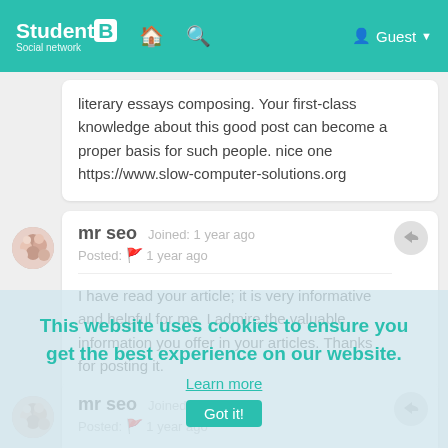StudentB Social network — Guest
literary essays composing. Your first-class knowledge about this good post can become a proper basis for such people. nice one https://www.slow-computer-solutions.org
mr seo Joined: 1 year ago
Posted: 1 year ago
I have read your article; it is very informative and helpful for me. I admire the valuable information you offer in your articles. Thanks for posting it.
https://www.hiccomputers.org
mr seo Joined: 1 year ago
Posted: 1 year ago